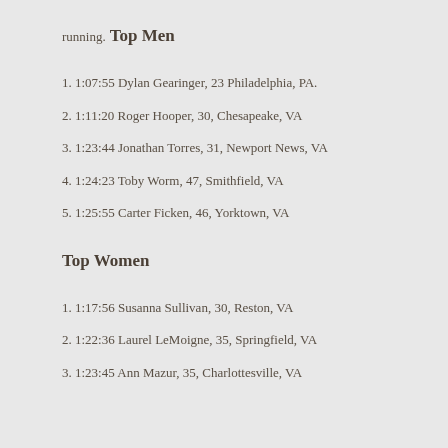running.
Top Men
1. 1:07:55 Dylan Gearinger, 23 Philadelphia, PA.
2. 1:11:20 Roger Hooper, 30, Chesapeake, VA
3. 1:23:44 Jonathan Torres, 31, Newport News, VA
4. 1:24:23 Toby Worm, 47, Smithfield, VA
5. 1:25:55 Carter Ficken, 46, Yorktown, VA
Top Women
1. 1:17:56 Susanna Sullivan, 30, Reston, VA
2. 1:22:36 Laurel LeMoigne, 35, Springfield, VA
3. 1:23:45 Ann Mazur, 35, Charlottesville, VA